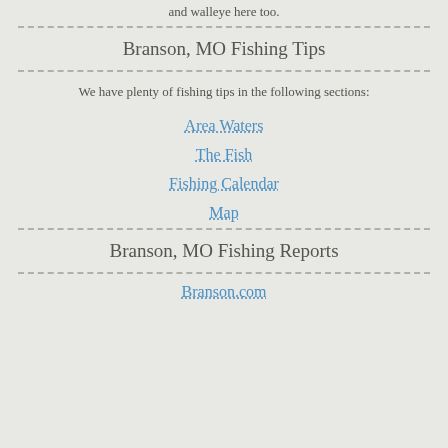and walleye here too.
Branson, MO Fishing Tips
We have plenty of fishing tips in the following sections:
Area Waters
The Fish
Fishing Calendar
Map
Branson, MO Fishing Reports
Branson.com